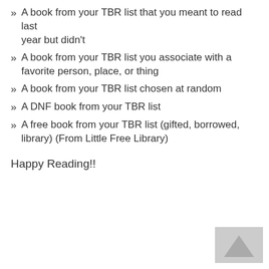A book from your TBR list that you meant to read last year but didn't
A book from your TBR list you associate with a favorite person, place, or thing
A book from your TBR list chosen at random
A DNF book from your TBR list
A free book from your TBR list (gifted, borrowed, library) (From Little Free Library)
Happy Reading!!